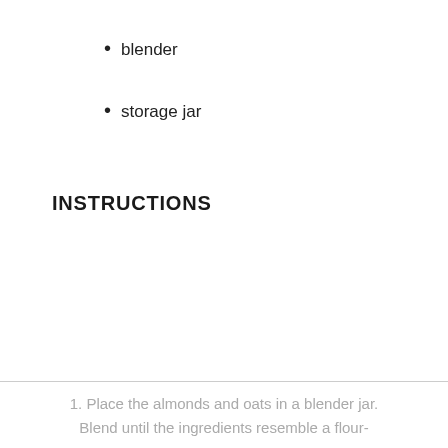blender
storage jar
INSTRUCTIONS
1. Place the almonds and oats in a blender jar. Blend until the ingredients resemble a flour-